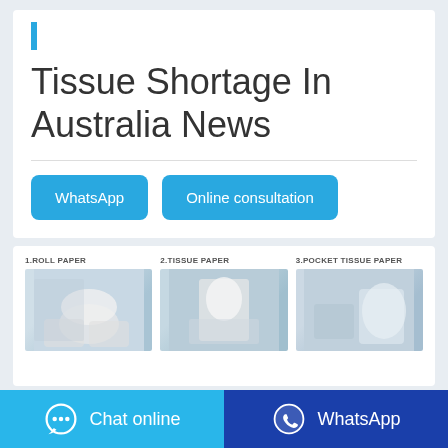Tissue Shortage In Australia News
WhatsApp
Online consultation
[Figure (photo): Three product photos: 1.Roll Paper, 2.Tissue Paper, 3.Pocket Tissue Paper]
Chat online
WhatsApp